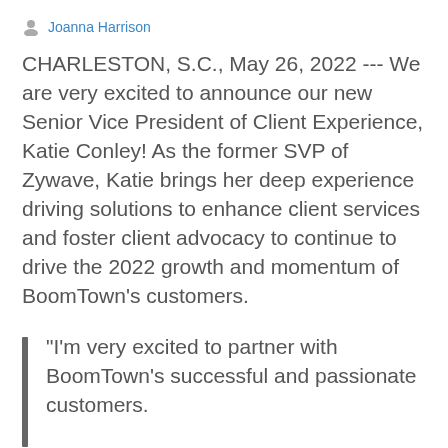Joanna Harrison
CHARLESTON, S.C., May 26, 2022 --- We are very excited to announce our new Senior Vice President of Client Experience, Katie Conley! As the former SVP of Zywave, Katie brings her deep experience driving solutions to enhance client services and foster client advocacy to continue to drive the 2022 growth and momentum of BoomTown’s customers.
“I’m very excited to partner with BoomTown’s successful and passionate customers.